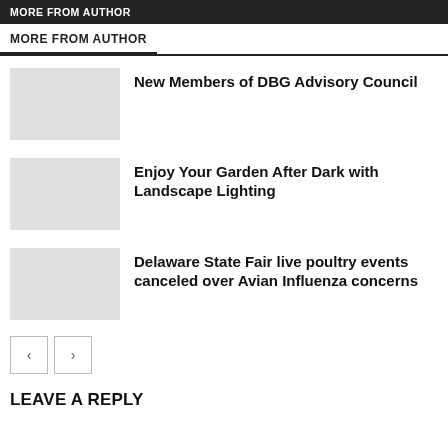MORE FROM AUTHOR
New Members of DBG Advisory Council
Enjoy Your Garden After Dark with Landscape Lighting
Delaware State Fair live poultry events canceled over Avian Influenza concerns
LEAVE A REPLY